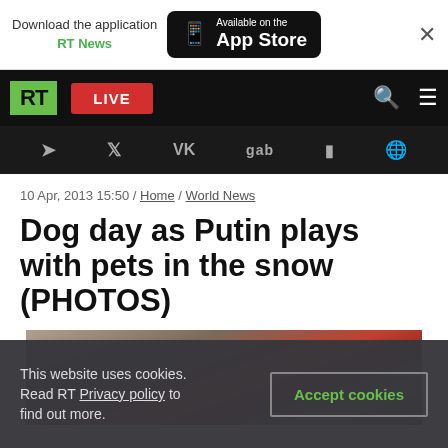[Figure (screenshot): App store download banner with RT News text and Available on the App Store button]
[Figure (screenshot): RT website navigation bar with RT logo, LIVE button, search and menu icons]
[Figure (screenshot): Social media icons bar: Telegram, Twitter, VK, gab, Rutube, and globe icon]
10 Apr, 2013 15:50 / Home / World News
Dog day as Putin plays with pets in the snow (PHOTOS)
[Figure (photo): Photo of Putin in red jacket playing with a dog in snow]
This website uses cookies. Read RT Privacy policy to find out more. Accept cookies